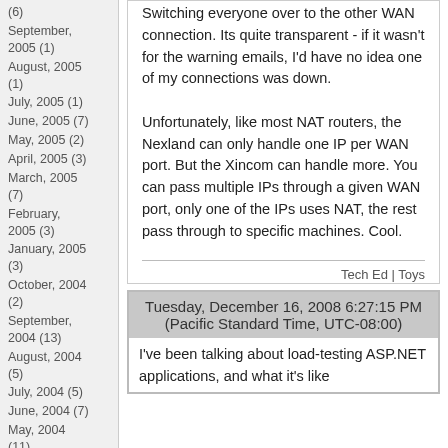(6)
September, 2005 (1)
August, 2005 (1)
July, 2005 (1)
June, 2005 (7)
May, 2005 (2)
April, 2005 (3)
March, 2005 (7)
February, 2005 (3)
January, 2005 (3)
October, 2004 (2)
September, 2004 (13)
August, 2004 (5)
July, 2004 (5)
June, 2004 (7)
May, 2004 (11)
Sitemap
.NET Rocks!
ASP.NET
Switching everyone over to the other WAN connection. Its quite transparent - if it wasn't for the warning emails, I'd have no idea one of my connections was down.

Unfortunately, like most NAT routers, the Nexland can only handle one IP per WAN port. But the Xincom can handle more. You can pass multiple IPs through a given WAN port, only one of the IPs uses NAT, the rest pass through to specific machines. Cool.
Tech Ed | Toys
Sunday, May 30, 2004 1:26:01 PM (Pacific Standard Time, UTC-08:00)  #  Comments [1] |
Tuesday, December 16, 2008 6:27:15 PM (Pacific Standard Time, UTC-08:00)
I've been talking about load-testing ASP.NET applications, and what it's like